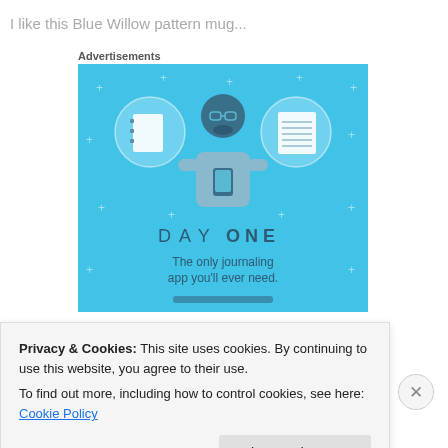I like this Blue Willow pattern mug...
Advertisements
[Figure (illustration): DAY ONE app advertisement on a blue background. Shows a cartoon person holding a phone, flanked by two circular icons — a notebook on the left and a lined notepad on the right. Text reads 'DAY ONE' and 'The only journaling app you'll ever need.']
Privacy & Cookies: This site uses cookies. By continuing to use this website, you agree to their use.
To find out more, including how to control cookies, see here: Cookie Policy